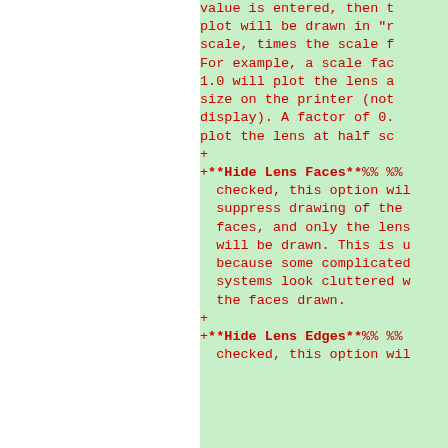value is entered, then the plot will be drawn in "real" scale, times the scale factor. For example, a scale factor of 1.0 will plot the lens at actual size on the printer (not on the display). A factor of 0.5 will plot the lens at half scale.
+ **Hide Lens Faces**%% %% If checked, this option will suppress drawing of the lens faces, and only the lens edges will be drawn. This is useful because some complicated lens systems look cluttered with the faces drawn.
+ **Hide Lens Edges**%% %% If checked, this option will suppress drawing of the